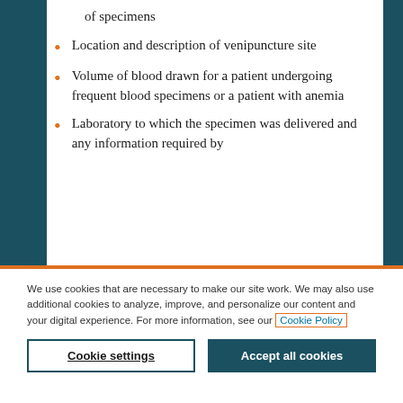of specimens
Location and description of venipuncture site
Volume of blood drawn for a patient undergoing frequent blood specimens or a patient with anemia
Laboratory to which the specimen was delivered and any information required by
We use cookies that are necessary to make our site work. We may also use additional cookies to analyze, improve, and personalize our content and your digital experience. For more information, see our Cookie Policy
Cookie settings
Accept all cookies